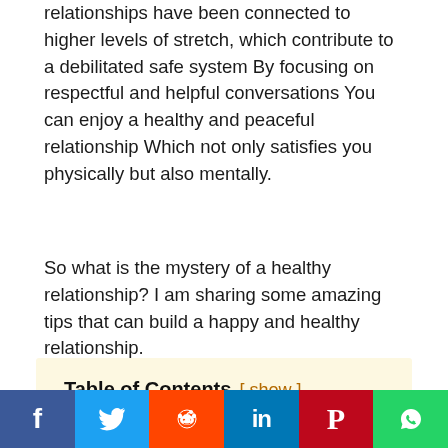relationships have been connected to higher levels of stretch, which contribute to a debilitated safe system By focusing on respectful and helpful conversations You can enjoy a healthy and peaceful relationship Which not only satisfies you physically but also mentally.
So what is the mystery of a healthy relationship? I am sharing some amazing tips that can build a happy and healthy relationship.
Table of Contents  [ show ]
1. Create a Safe Environment where Yo…
[Figure (infographic): Social sharing bar at the bottom with Facebook (blue), Twitter (light blue), Reddit (orange), LinkedIn (dark blue), Pinterest (red), WhatsApp (green) icons]